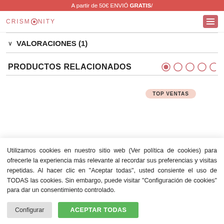A partir de 50€ ENVIÓ GRATIS/
[Figure (logo): CRISMONITY logo with circular emblem]
VALORACIONES (1)
PRODUCTOS RELACIONADOS
[Figure (other): Navigation dots: one filled, four outlined]
[Figure (other): TOP VENTAS badge in product preview area]
Utilizamos cookies en nuestro sitio web (Ver política de cookies) para ofrecerle la experiencia más relevante al recordar sus preferencias y visitas repetidas. Al hacer clic en "Aceptar todas", usted consiente el uso de TODAS las cookies. Sin embargo, puede visitar "Configuración de cookies" para dar un consentimiento controlado.
Configurar
ACEPTAR TODAS